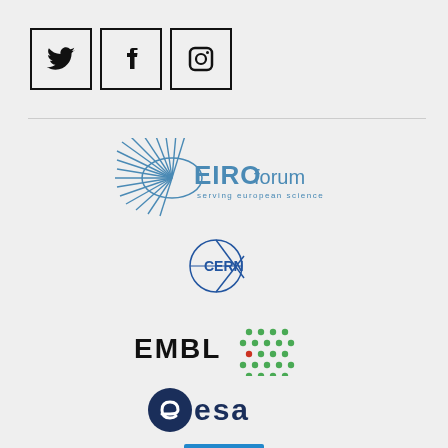[Figure (logo): Three social media icons in bordered boxes: Twitter bird, Facebook f, Instagram camera]
[Figure (logo): EIROforum logo - serving european science]
[Figure (logo): CERN logo]
[Figure (logo): EMBL logo with green hexagonal dot pattern]
[Figure (logo): ESA logo - European Space Agency]
[Figure (logo): ES logo in blue box with stars]